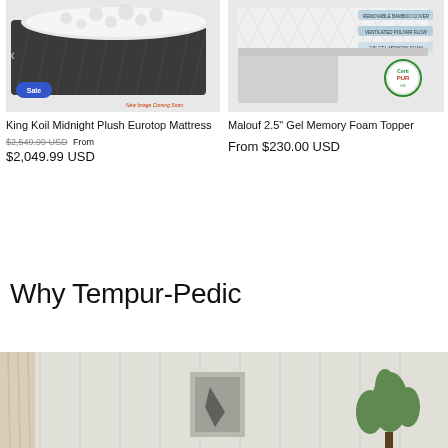[Figure (photo): King Koil Midnight Plush Eurotop Mattress product photo showing dark lattice-weave border with plush white top, 'Sale' badge overlay, 'New Image Coming Soon' label]
[Figure (photo): Malouf 2.5 inch Gel Memory Foam Topper product photo showing cut-away diagram with labeled layers and CertiPUR-US certification badge]
King Koil Midnight Plush Eurotop Mattress
$2,549.99 USD  From $2,049.99 USD
Malouf 2.5" Gel Memory Foam Topper
From $230.00 USD
Why Tempur-Pedic
[Figure (photo): Bedroom interior with white paneled wall, curtains, framed artwork and a plant — Tempur-Pedic promotional image]